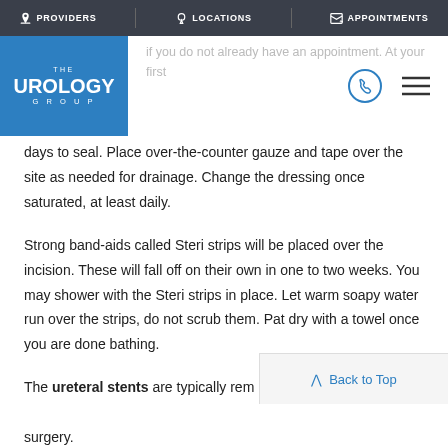PROVIDERS | LOCATIONS | APPOINTMENTS
[Figure (logo): The Urology Group logo - blue square background with white text]
if you do not already have an appointment. At your first
days to seal. Place over-the-counter gauze and tape over the site as needed for drainage. Change the dressing once saturated, at least daily.
Strong band-aids called Steri strips will be placed over the incision. These will fall off on their own in one to two weeks. You may shower with the Steri strips in place. Let warm soapy water run over the strips, do not scrub them. Pat dry with a towel once you are done bathing.
The ureteral stents are typically rem surgery.